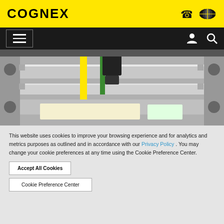COGNEX
[Figure (screenshot): Industrial machine vision setup showing a camera mounted above a conveyor or rail system with yellow and green wiring visible]
This website uses cookies to improve your browsing experience and for analytics and metrics purposes as outlined and in accordance with our Privacy Policy . You may change your cookie preferences at any time using the Cookie Preference Center.
Accept All Cookies
Cookie Preference Center